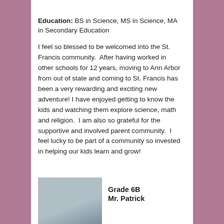Education: BS in Science, MS in Science, MA in Secondary Education
I feel so blessed to be welcomed into the St. Francis community.  After having worked in other schools for 12 years, moving to Ann Arbor from out of state and coming to St. Francis has been a very rewarding and exciting new adventure! I have enjoyed getting to know the kids and watching them explore science, math and religion.  I am also so grateful for the supportive and involved parent community.  I feel lucky to be part of a community so invested in helping our kids learn and grow!
Grade 6B
Mr. Patrick
[Figure (photo): Headshot photo of a person, partially visible, grey/blue background]